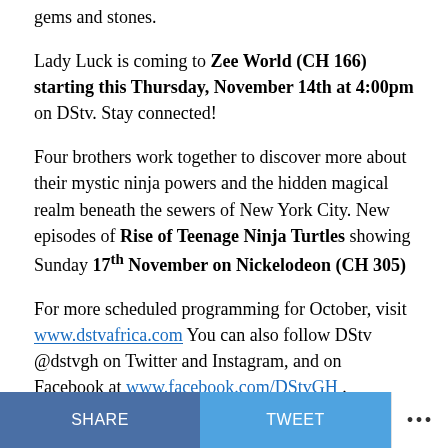gems and stones.
Lady Luck is coming to Zee World (CH 166) starting this Thursday, November 14th at 4:00pm on DStv. Stay connected!
Four brothers work together to discover more about their mystic ninja powers and the hidden magical realm beneath the sewers of New York City. New episodes of Rise of Teenage Ninja Turtles showing Sunday 17th November on Nickelodeon (CH 305)
For more scheduled programming for October, visit www.dstvafrica.com You can also follow DStv @dstvgh on Twitter and Instagram, and on Facebook at www.facebook.com/DStvGH .
SHARE   TWEET   •••